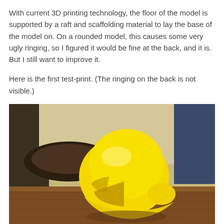With current 3D printing technology, the floor of the model is supported by a raft and scaffolding material to lay the base of the model on. On a rounded model, this causes some very ugly ringing, so I figured it would be fine at the back, and it is. But I still want to improve it.
Here is the first test-print. (The ringing on the back is not visible.)
[Figure (photo): Photo of a yellow 3D-printed Pac-Man helmet model sitting on a wooden table surface, with background showing walls and objects out of focus.]